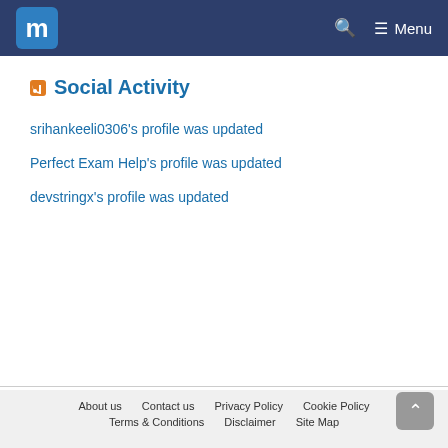m Menu
Social Activity
srihankeeli0306's profile was updated
Perfect Exam Help's profile was updated
devstringx's profile was updated
About us  Contact us  Privacy Policy  Cookie Policy  Terms & Conditions  Disclaimer  Site Map